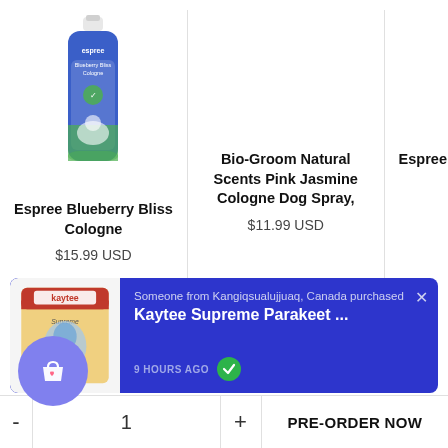[Figure (photo): Espree Blueberry Bliss Cologne bottle product image - blue and white spray bottle]
Espree Blueberry Bliss Cologne
Bio-Groom Natural Scents Pink Jasmine Cologne Dog Spray,
Espree
$15.99 USD
$11.99 USD
[Figure (screenshot): Purchase notification banner: Someone from Kangiqsualujjuaq, Canada purchased Kaytee Supreme Parakeet ... 9 HOURS AGO with green checkmark. Shows Kaytee product bag thumbnail on left.]
Someone from Kangiqsualujjuaq, Canada purchased
Kaytee Supreme Parakeet ...
9 HOURS AGO
- 1 + PRE-ORDER NOW